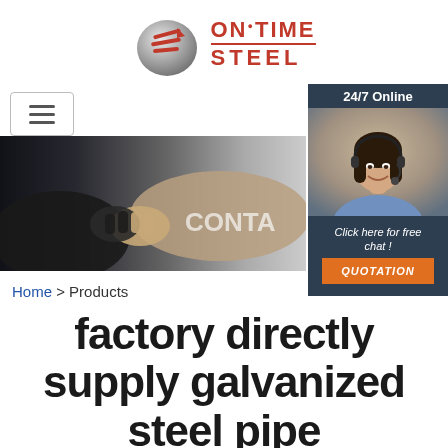[Figure (logo): OnTime Steel logo with stylized steel coil icon and red bold text reading ONTIME STEEL]
[Figure (photo): Handshake business photo with text CONTA partially visible, dark background]
[Figure (photo): 24/7 Online chat widget showing a woman with headset, with Click here for free chat and QUOTATION button]
Home > Products
factory directly supply galvanized steel pipe